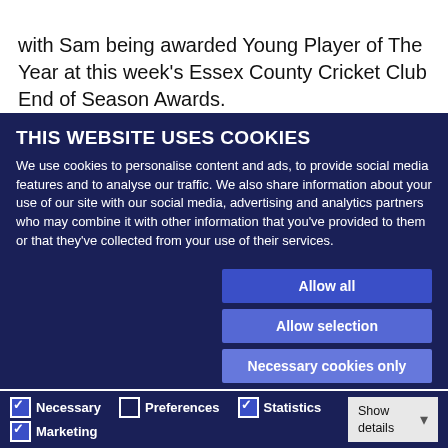with Sam being awarded Young Player of The Year at this week's Essex County Cricket Club End of Season Awards.
Through Cloudfm's sponsorship of Essex County Cricket Club, we're very proud to have Aaron and Sam's support of the Academy programme. As we welcome 12 new apprentices to Cloudfm, we're very pleased to have the support of two high achieving...
THIS WEBSITE USES COOKIES
We use cookies to personalise content and ads, to provide social media features and to analyse our traffic. We also share information about your use of our site with our social media, advertising and analytics partners who may combine it with other information that you've provided to them or that they've collected from your use of their services.
Allow all
Allow selection
Necessary cookies only
Necessary  Preferences  Statistics  Marketing  Show details